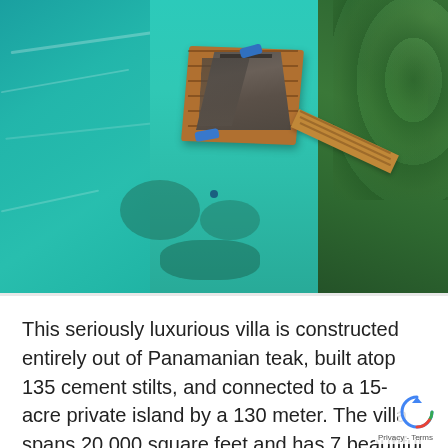[Figure (photo): Aerial drone photograph of an overwater villa/bungalow constructed from teak wood, built on stilts above turquoise-green water, connected by a long wooden walkway/dock to a green island with lush vegetation. The structure is viewed from directly above at a slight angle, showing a peaked roof and surrounding deck platform.]
This seriously luxurious villa is constructed entirely out of Panamanian teak, built atop 135 cement stilts, and connected to a 15-acre private island by a 130 meter. The villa spans 20,000 square feet and has 7 beautiful bedrooms over three stories, from which guests can enjoy indoor and outdoor lounge areas and relax in utmost privacy and comfort. The